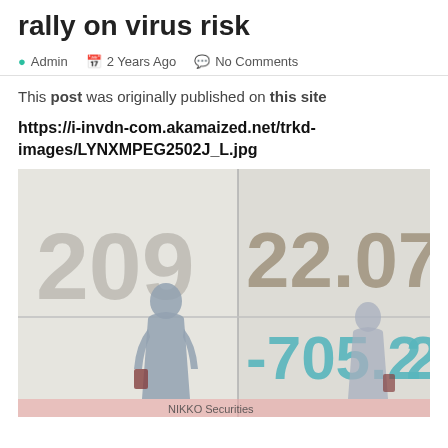rally on virus risk
Admin   2 Years Ago   No Comments
This post was originally published on this site
https://i-invdn-com.akamaized.net/trkd-images/LYNXMPEG2502J_L.jpg
[Figure (photo): Two silhouetted figures standing in front of a large stock market display board showing numbers 209, 22.07, and -705.2, with NIKKO Securities text visible at the bottom]